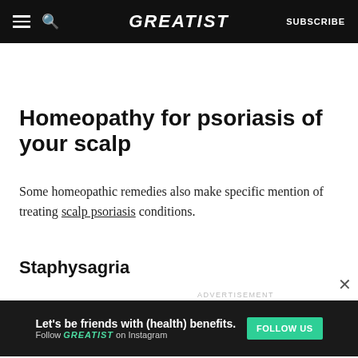GREATIST | SUBSCRIBE
Homeopathy for psoriasis of your scalp
Some homeopathic remedies also make specific mention of treating scalp psoriasis conditions.
Staphysagria
ADVERTISEMENT
Let's be friends with (health) benefits. Follow GREATIST on Instagram FOLLOW US